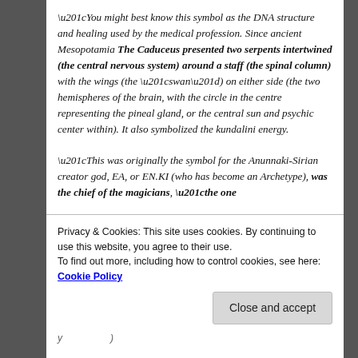“You might best know this symbol as the DNA structure and healing used by the medical profession. Since ancient Mesopotamia The Caduceus presented two serpents intertwined (the central nervous system) around a staff (the spinal column) with the wings (the “swan”) on either side (the two hemispheres of the brain, with the circle in the centre representing the pineal gland, or the central sun and psychic center within). It also symbolized the kundalini energy.
“This was originally the symbol for the Anunnaki-Sirian creator god, EA, or EN.KI (who has become an Archetype), was the chief of the magicians, “the one…
Privacy & Cookies: This site uses cookies. By continuing to use this website, you agree to their use.
To find out more, including how to control cookies, see here: Cookie Policy
Close and accept